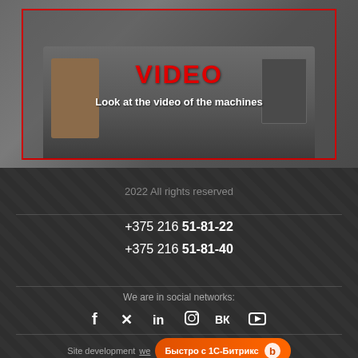[Figure (photo): CNC machine photo shown behind a video overlay with red border. Shows industrial machine tool with wooden/metal components.]
VIDEO
Look at the video of the machines
2022 All rights reserved
+375 216 51-81-22
+375 216 51-81-40
We are in social networks:
Site development we... Быстро с 1С-Битрикс